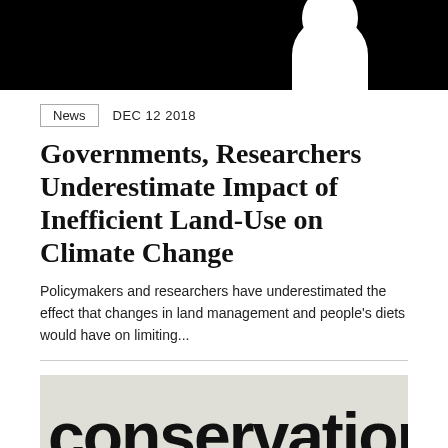[Figure (photo): Black and white photo with a silhouette of a person's head against a dark background]
News   DEC 12 2018
Governments, Researchers Underestimate Impact of Inefficient Land-Use on Climate Change
Policymakers and researchers have underestimated the effect that changes in land management and people's diets would have on limiting...
[Figure (photo): Close-up photo of the word 'conservation' printed on paper or fabric]